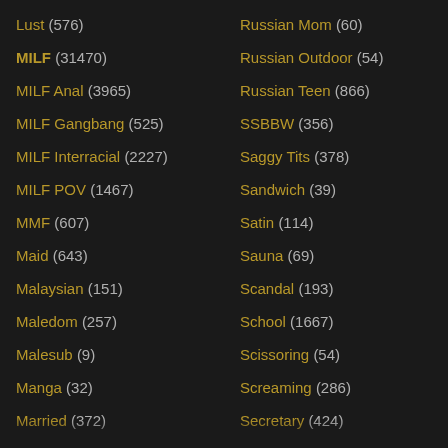Lust (576)
Russian Mom (60)
MILF (31470)
Russian Outdoor (54)
MILF Anal (3965)
Russian Teen (866)
MILF Gangbang (525)
SSBBW (356)
MILF Interracial (2227)
Saggy Tits (378)
MILF POV (1467)
Sandwich (39)
MMF (607)
Satin (114)
Maid (643)
Sauna (69)
Malaysian (151)
Scandal (193)
Maledom (257)
School (1667)
Malesub (9)
Scissoring (54)
Manga (32)
Screaming (286)
Married (372)
Secretary (424)
Mask (239)
Seducing (524)
Massage (2612)
See Through (50)
Masseuse (310)
Self Facial (56)